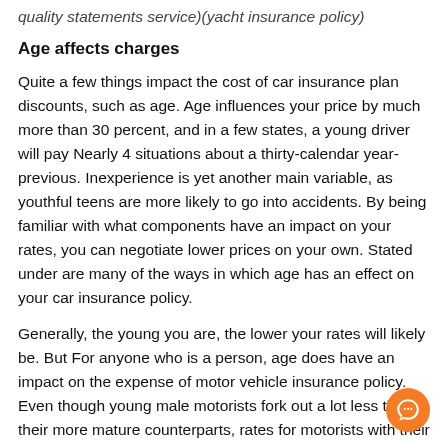quality statements service)(yacht insurance policy)
Age affects charges
Quite a few things impact the cost of car insurance plan discounts, such as age. Age influences your price by much more than 30 percent, and in a few states, a young driver will pay Nearly 4 situations about a thirty-calendar year-previous. Inexperience is yet another main variable, as youthful teens are more likely to go into accidents. By being familiar with what components have an impact on your rates, you can negotiate lower prices on your own. Stated under are many of the ways in which age has an effect on your car insurance policy.
Generally, the young you are, the lower your rates will likely be. But For anyone who is a person, age does have an impact on the expense of motor vehicle insurance policy. Even though young male motorists fork out a lot less than their more mature counterparts, rates for motorists with their sixties and seventies skyrocket. Statistically, males are